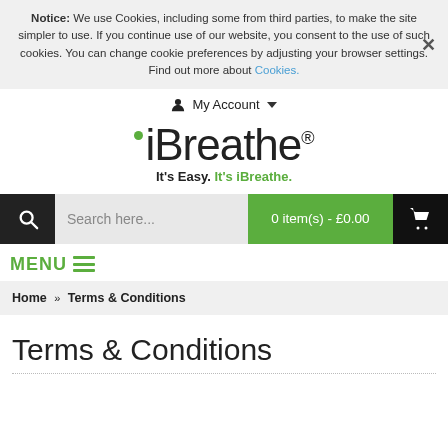Notice: We use Cookies, including some from third parties, to make the site simpler to use. If you continue use of our website, you consent to the use of such cookies. You can change cookie preferences by adjusting your browser settings. Find out more about Cookies.
My Account
[Figure (logo): iBreathe logo with green dot and registered trademark symbol, tagline: It's Easy. It's iBreathe.]
Search here...
0 item(s) - £0.00
MENU
Home » Terms & Conditions
Terms & Conditions